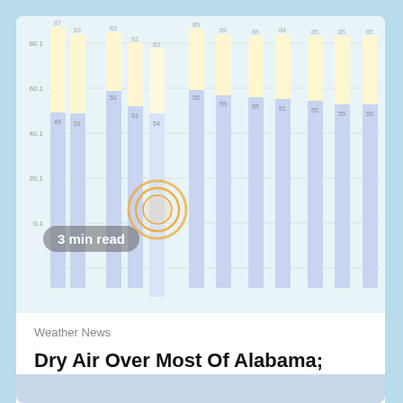[Figure (bar-chart): Grouped bar chart showing temperature highs (yellow/cream) and lows (light blue) with a highlighted current time marker circle, for multiple time periods across a day]
3 min read
Weather News
Dry Air Over Most Of Alabama; Lower Humidity Today
2 hours ago   eWeatherNews RSS Feed